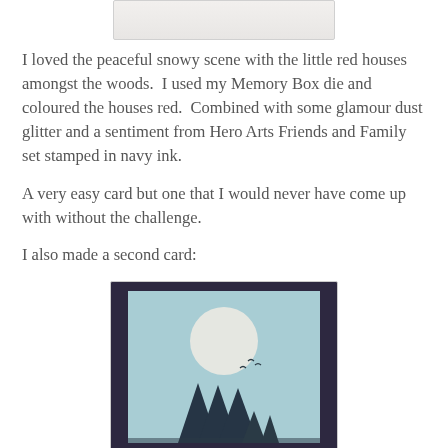[Figure (photo): Top portion of a card image showing a snowy scene with small red houses among woods, cropped at the top of the page]
I loved the peaceful snowy scene with the little red houses amongst the woods.  I used my Memory Box die and coloured the houses red.  Combined with some glamour dust glitter and a sentiment from Hero Arts Friends and Family set stamped in navy ink.
A very easy card but one that I would never have come up with without the challenge.
I also made a second card:
[Figure (photo): A card featuring a large circular moon against a teal/blue background with dark silhouette pine trees in the foreground and small birds flying, mounted on a dark purple/navy card stock border]